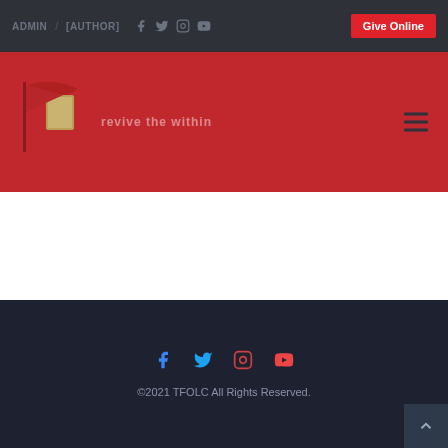ADMIN / [AUTHOR] Give Online
[Figure (logo): TFOLC red flag logo with site name text on red header background with hamburger menu icon]
©2021 TFOLC All Rights Reserved.